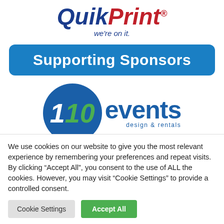[Figure (logo): QuikPrint logo with 'we're on it.' tagline. 'Quik' in dark blue bold italic, 'Print' in red bold italic, tagline in blue italic below.]
Supporting Sponsors
[Figure (logo): 110events design & rentals logo. Blue circle with '1' in white and '10' in green italic bold, followed by 'events' in large dark blue text and 'design & rentals' subtitle.]
We use cookies on our website to give you the most relevant experience by remembering your preferences and repeat visits. By clicking "Accept All", you consent to the use of ALL the cookies. However, you may visit "Cookie Settings" to provide a controlled consent.
Cookie Settings
Accept All